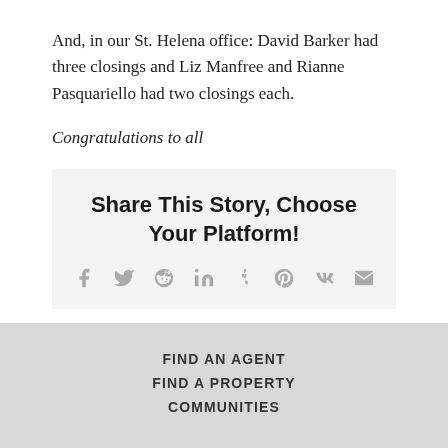And, in our St. Helena office: David Barker had three closings and Liz Manfree and Rianne Pasquariello had two closings each.
Congratulations to all
Share This Story, Choose Your Platform!
[Figure (infographic): Social media sharing icons: Facebook, Twitter, Reddit, LinkedIn, Tumblr, Pinterest, VK, Email]
FIND AN AGENT
FIND A PROPERTY
COMMUNITIES